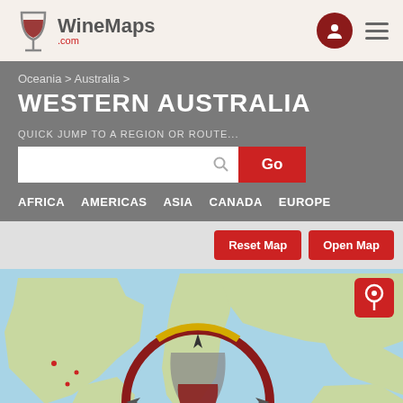[Figure (logo): WineMaps.com logo with wine glass icon]
Oceania > Australia >
WESTERN AUSTRALIA
QUICK JUMP TO A REGION OR ROUTE...
Go
AFRICA
AMERICAS
ASIA
CANADA
EUROPE
Reset Map
Open Map
[Figure (map): World map with wine glass magnifier overlay showing WineMaps interface for Western Australia]